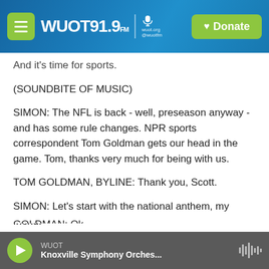WUOT 91.9 FM | Donate
And it's time for sports.
(SOUNDBITE OF MUSIC)
SIMON: The NFL is back - well, preseason anyway - and has some rule changes. NPR sports correspondent Tom Goldman gets our head in the game. Tom, thanks very much for being with us.
TOM GOLDMAN, BYLINE: Thank you, Scott.
SIMON: Let's start with the national anthem, my friend.
GOLDMAN: Ok
WUOT — Knoxville Symphony Orches...